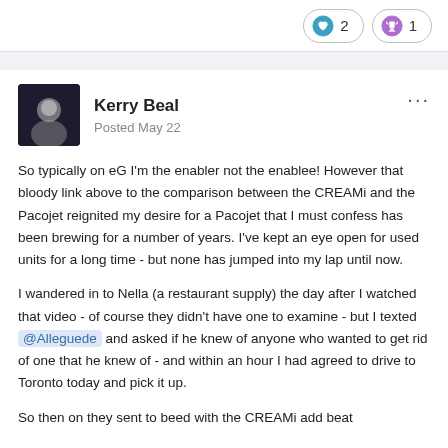[Figure (infographic): Two reaction buttons: heart icon with count 2, trophy icon with count 1]
Kerry Beal
Posted May 22
So typically on eG I'm the enabler not the enablee! However that bloody link above to the comparison between the CREAMi and the Pacojet reignited my desire for a Pacojet that I must confess has been brewing for a number of years. I've kept an eye open for used units for a long time - but none has jumped into my lap until now.
I wandered in to Nella (a restaurant supply) the day after I watched that video - of course they didn't have one to examine - but I texted @Alleguede and asked if he knew of anyone who wanted to get rid of one that he knew of - and within an hour I had agreed to drive to Toronto today and pick it up.
So then on they sent to beed with the CREAMi add beat